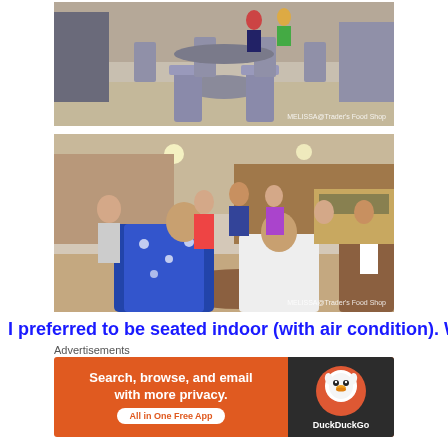[Figure (photo): Restaurant dining area with tables and chairs, outdoor/open seating, watermark: MELISSA@Trader's Food Shop]
[Figure (photo): Indoor restaurant with many people dining, warm lighting, wooden furniture, watermark: MELISSA@Trader's Food Shop]
I preferred to be seated indoor (with air condition). Which i
Advertisements
[Figure (infographic): DuckDuckGo advertisement banner: Search, browse, and email with more privacy. All in One Free App. DuckDuckGo logo on dark right panel.]